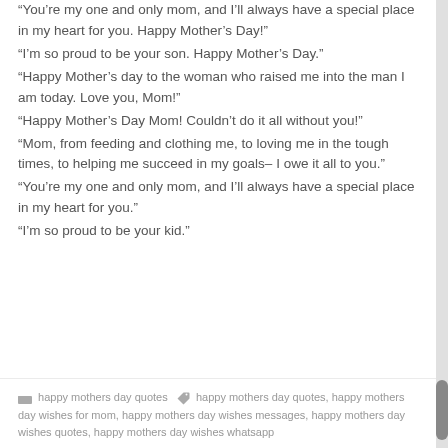“You’re my one and only mom, and I’ll always have a special place in my heart for you. Happy Mother’s Day!”
“I’m so proud to be your son. Happy Mother’s Day.”
“Happy Mother’s day to the woman who raised me into the man I am today. Love you, Mom!”
“Happy Mother’s Day Mom! Couldn’t do it all without you!”
“Mom, from feeding and clothing me, to loving me in the tough times, to helping me succeed in my goals– I owe it all to you.”
“You’re my one and only mom, and I’ll always have a special place in my heart for you.”
“I’m so proud to be your kid.”
happy mothers day quotes  happy mothers day quotes, happy mothers day wishes for mom, happy mothers day wishes messages, happy mothers day wishes quotes, happy mothers day wishes whatsapp